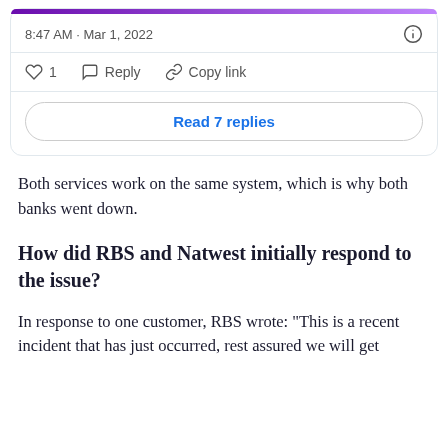[Figure (screenshot): Twitter/X post interaction bar showing timestamp 8:47 AM · Mar 1, 2022, info icon, like (1), reply, copy link actions, and a 'Read 7 replies' button]
Both services work on the same system, which is why both banks went down.
How did RBS and Natwest initially respond to the issue?
In response to one customer, RBS wrote: "This is a recent incident that has just occurred, rest assured we will get